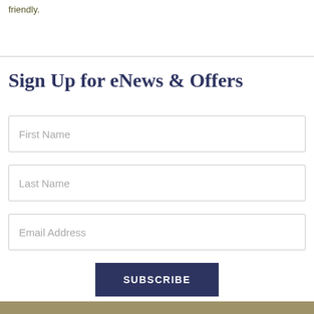friendly.
Sign Up for eNews & Offers
First Name
Last Name
Email Address
SUBSCRIBE